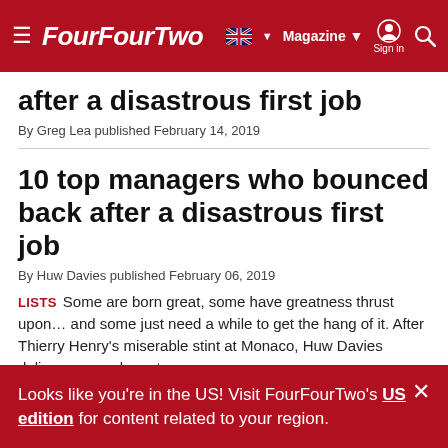FourFourTwo — Magazine — Sign in
after a disastrous first job
By Greg Lea published February 14, 2019
10 top managers who bounced back after a disastrous first job
By Huw Davies published February 06, 2019
LISTS   Some are born great, some have greatness thrust upon... and some just need a while to get the hang of it. After Thierry Henry's miserable stint at Monaco, Huw Davies delivers some dugout successes
Looks like you're in the US! Visit FourFourTwo's US edition for content related to your region.